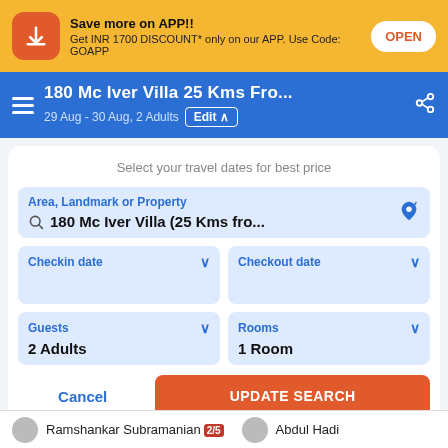Save more on APP!! Get INR 1700 DISCOUNT* only on our APP. Use Code: GOAPP
180 Mc Iver Villa 25 Kms Fro...
29 Aug - 30 Aug, 2 Adults  Edit
Select your travel dates for best price
Area, Landmark or Property
180 Mc Iver Villa (25 Kms fro...
Checkin date
Checkout date
Guests
2 Adults
Rooms
1 Room
Cancel
UPDATE SEARCH
Ramshankar Subramanian 2/5   Abdul Hadi